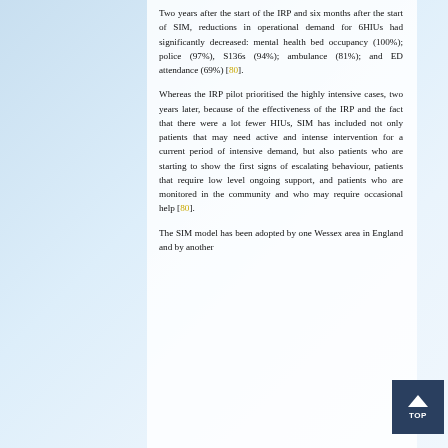Two years after the start of the IRP and six months after the start of SIM, reductions in operational demand for 6HIUs had significantly decreased: mental health bed occupancy (100%); police (97%), S136s (94%); ambulance (81%); and ED attendance (69%) [80].
Whereas the IRP pilot prioritised the highly intensive cases, two years later, because of the effectiveness of the IRP and the fact that there were a lot fewer HIUs, SIM has included not only patients that may need active and intense intervention for a current period of intensive demand, but also patients who are starting to show the first signs of escalating behaviour, patients that require low level ongoing support, and patients who are monitored in the community and who may require occasional help [80].
The SIM model has been adopted by one Wessex area in England and by another